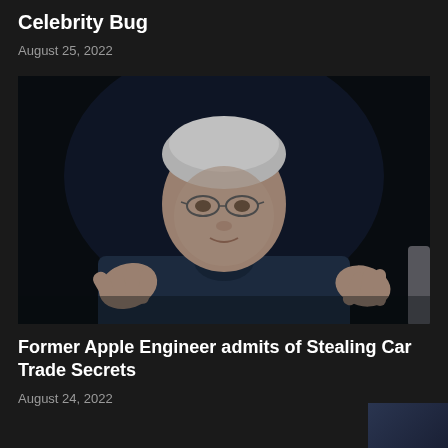Celebrity Bug
August 25, 2022
[Figure (photo): Man in dark suit jacket and glasses gesturing with hands, photographed against a dark background]
Former Apple Engineer admits of Stealing Car Trade Secrets
August 24, 2022